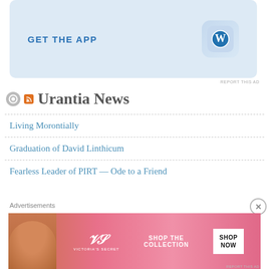[Figure (screenshot): WordPress GET THE APP promotional banner with blue gradient background and WordPress logo icon]
REPORT THIS AD
[Figure (logo): Gear/settings icon (circular grey button)]
Urantia News
Living Morontially
Graduation of David Linthicum
Fearless Leader of PIRT — Ode to a Friend
Advertisements
[Figure (screenshot): Victoria's Secret advertisement banner — SHOP THE COLLECTION / SHOP NOW with pink background and model photo]